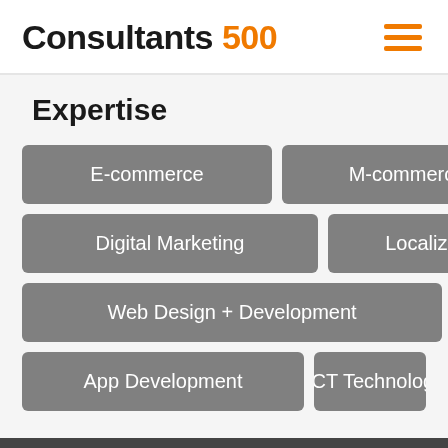Consultants 500
Expertise
E-commerce
M-commerce
Digital Marketing
Localization
Web Design + Development
App Development
ICT Technology